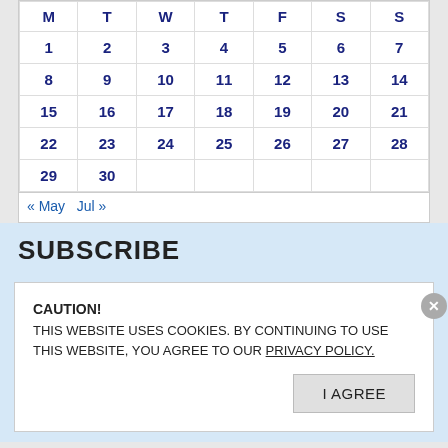| M | T | W | T | F | S | S |
| --- | --- | --- | --- | --- | --- | --- |
| 1 | 2 | 3 | 4 | 5 | 6 | 7 |
| 8 | 9 | 10 | 11 | 12 | 13 | 14 |
| 15 | 16 | 17 | 18 | 19 | 20 | 21 |
| 22 | 23 | 24 | 25 | 26 | 27 | 28 |
| 29 | 30 |  |  |  |  |  |
« May   Jul »
SUBSCRIBE
CAUTION!
THIS WEBSITE USES COOKIES. BY CONTINUING TO USE THIS WEBSITE, YOU AGREE TO OUR PRIVACY POLICY.
I AGREE